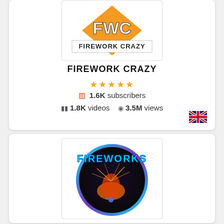[Figure (logo): Firework Crazy logo - orange FWC letters with orange heart shape and 'FIREWORK CRAZY' text below]
FIREWORK CRAZY
★★★★★ (star rating)
1.6K subscribers
1.8K videos   3.5M views
[Figure (illustration): UK flag emoji]
[Figure (illustration): Fireworks channel logo - circular dark background with blue neon 'FIREWORKS' text and firework explosion image]